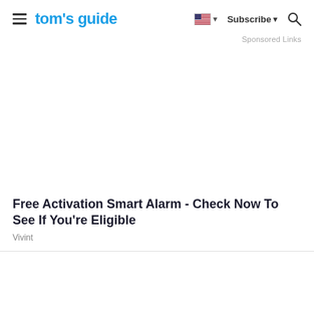tom's guide — Subscribe — Search
Sponsored Links
[Figure (other): Advertisement / blank white space area]
Free Activation Smart Alarm - Check Now To See If You're Eligible
Vivint